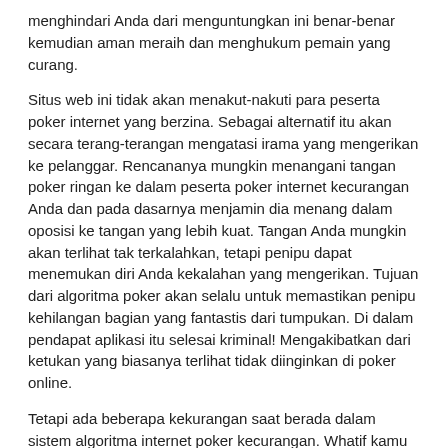menghindari Anda dari menguntungkan ini benar-benar kemudian aman meraih dan menghukum pemain yang curang.
Situs web ini tidak akan menakut-nakuti para peserta poker internet yang berzina. Sebagai alternatif itu akan secara terang-terangan mengatasi irama yang mengerikan ke pelanggar. Rencananya mungkin menangani tangan poker ringan ke dalam peserta poker internet kecurangan Anda dan pada dasarnya menjamin dia menang dalam oposisi ke tangan yang lebih kuat. Tangan Anda mungkin akan terlihat tak terkalahkan, tetapi penipu dapat menemukan diri Anda kekalahan yang mengerikan. Tujuan dari algoritma poker akan selalu untuk memastikan penipu kehilangan bagian yang fantastis dari tumpukan. Di dalam pendapat aplikasi itu selesai kriminal! Mengakibatkan dari ketukan yang biasanya terlihat tidak diinginkan di poker online.
Tetapi ada beberapa kekurangan saat berada dalam sistem algoritma internet poker kecurangan. Whatif kamu mungkin tidak curang? Bayangkan jika Anda bermain dengan potensi kecocokan optimal / optimal? Algoritme mungkin tidak dapat menemukan apakah Anda peserta yang baik, hanya apakah Anda curang. Oleh karena itu, jika Anda akan tertangkap di snare melalui suatu algoritma, maka itu hanya cara di mana internet akan bekerja. Ini merupakan hal yang sangat buruk bahwa perhitungan poker diciptakan untuk menangkap pemain curang, dan juga pemain yang sangat baik harus menjalani konsekuensi dari ketukan negatif. Namun cara untuk mencegah hal ini terjadi untuk Anda akan siap ditawarkan.